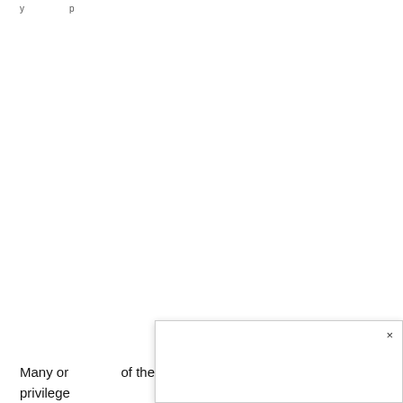y ... p ...
Many or ... of the ... of t... privilege ... to the